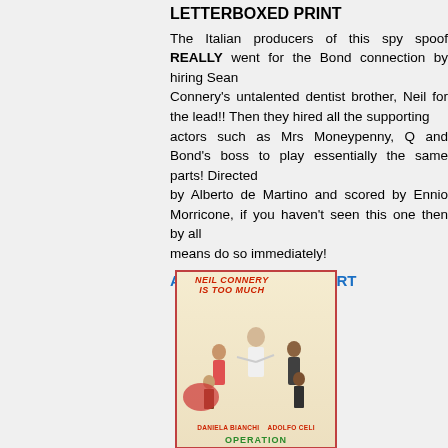LETTERBOXED PRINT
The Italian producers of this spy spoof REALLY went for the Bond connection by hiring Sean Connery's untalented dentist brother, Neil for the lead!! Then they hired all the supporting actors such as Mrs Moneypenny, Q and Bond's boss to play essentially the same parts! Directed by Alberto de Martino and scored by Ennio Morricone, if you haven't seen this one then by all means do so immediately!
ADD TO SHOPPING CART
[Figure (photo): Movie poster for 'Operation Kid Brother' (Neil Connery Is Too Much) featuring Neil Connery, Daniela Bianchi, Adolfo Celi. Red border, colorful illustrated action artwork with characters.]